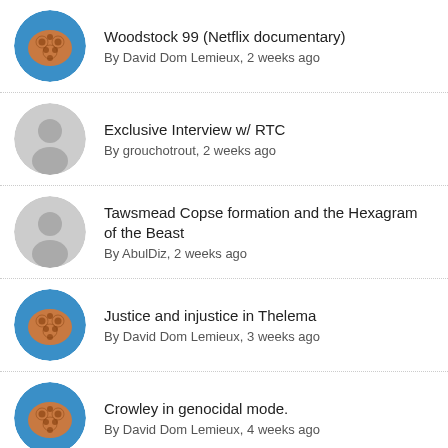Woodstock 99 (Netflix documentary)
By David Dom Lemieux, 2 weeks ago
Exclusive Interview w/ RTC
By grouchotrout, 2 weeks ago
Tawsmead Copse formation and the Hexagram of the Beast
By AbulDiz, 2 weeks ago
Justice and injustice in Thelema
By David Dom Lemieux, 3 weeks ago
Crowley in genocidal mode.
By David Dom Lemieux, 4 weeks ago